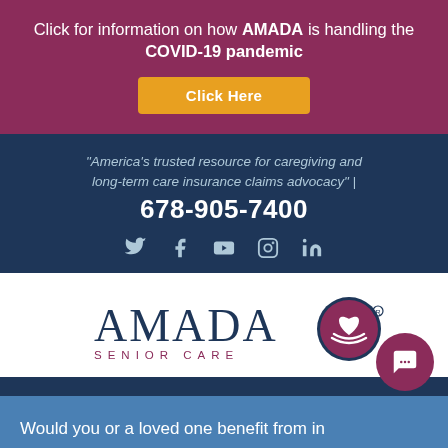Click for information on how AMADA is handling the COVID-19 pandemic
Click Here
"America's trusted resource for caregiving and long-term care insurance claims advocacy" | 678-905-7400
[Figure (other): Social media icons: Twitter, Facebook, YouTube, Instagram, LinkedIn]
[Figure (logo): AMADA Senior Care logo with circular emblem containing heart and hands]
Go to...
Would you or a loved one benefit from in